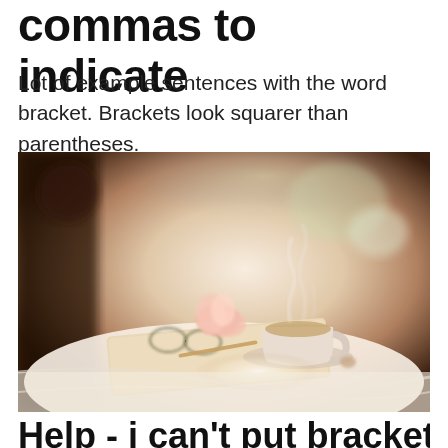commas to indicate
Lot of example sentences with the word bracket. Brackets look squarer than parentheses.
[Figure (photo): A steaming cup of tea on a saucer placed on top of an open book with a pink flower, set on white bed linen, with soft bokeh background lighting.]
Help - i can't put brackets on